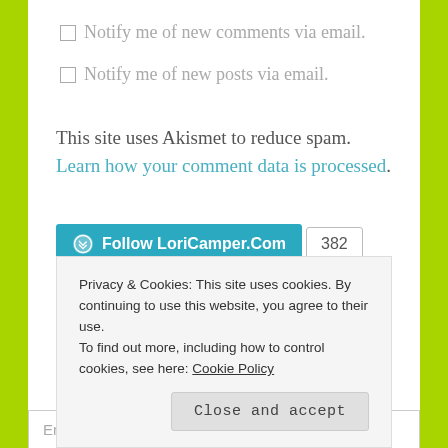Notify me of new comments via email.
Notify me of new posts via email.
This site uses Akismet to reduce spam. Learn how your comment data is processed.
[Figure (other): Follow LoriCamper.Com WordPress follow button with count 382]
Follow Blog via Email
Privacy & Cookies: This site uses cookies. By continuing to use this website, you agree to their use. To find out more, including how to control cookies, see here: Cookie Policy
Close and accept
Enter your email address